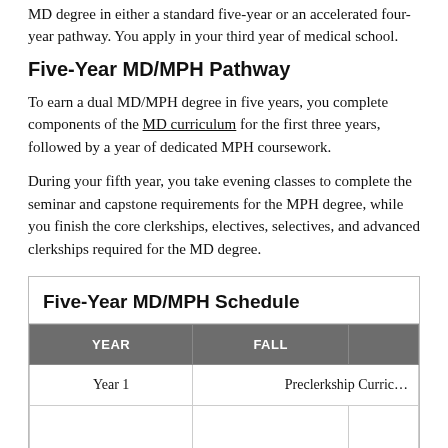MD degree in either a standard five-year or an accelerated four-year pathway. You apply in your third year of medical school.
Five-Year MD/MPH Pathway
To earn a dual MD/MPH degree in five years, you complete components of the MD curriculum for the first three years, followed by a year of dedicated MPH coursework.
During your fifth year, you take evening classes to complete the seminar and capstone requirements for the MPH degree, while you finish the core clerkships, electives, selectives, and advanced clerkships required for the MD degree.
| YEAR | FALL |  |
| --- | --- | --- |
| Year 1 | Preclerkship Curric… |  |
|  |  |  |